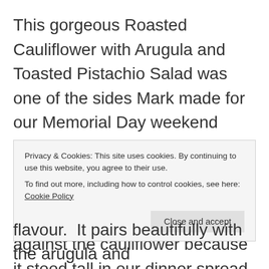This gorgeous Roasted Cauliflower with Arugula and Toasted Pistachio Salad was one of the sides Mark made for our Memorial Day weekend feast and it dared to steal the spotlight from the Spicy Lobster Pasta.  Yes, throw away any prejudices you might have against the cauliflower because it stood tall in our dinner spread and some might even argue that almost shone over the lobster by just a hair. Almost, I
Privacy & Cookies: This site uses cookies. By continuing to use this website, you agree to their use.
To find out more, including how to control cookies, see here: Cookie Policy
flavour.  It pairs beautifully with the arugula and